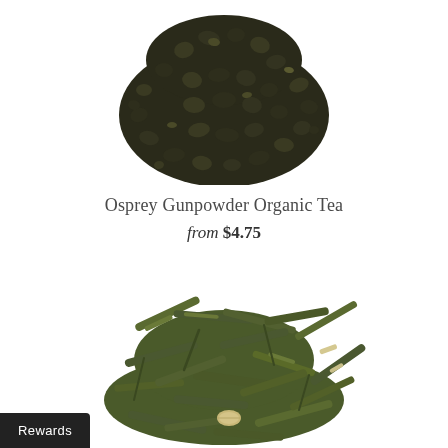[Figure (photo): Overhead view of rolled dark green gunpowder tea leaves/pellets arranged in a mound on white background]
Osprey Gunpowder Organic Tea
from $4.75
[Figure (photo): Loose leaf green tea with elongated flat leaves and a cardamom pod visible, arranged in a mound on white background]
Rewards